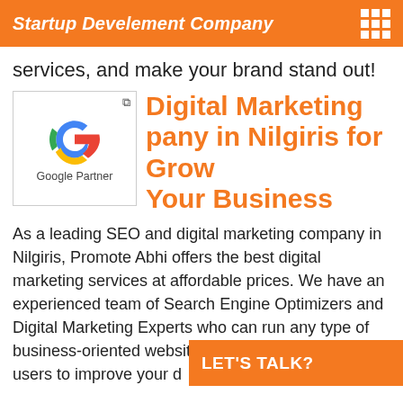Startup Develement Company
services, and make your brand stand out!
[Figure (logo): Google Partner badge with Google G logo and text 'Google Partner']
Digital Marketing Company in Nilgiris for Grow Your Business
As a leading SEO and digital marketing company in Nilgiris, Promote Abhi offers the best digital marketing services at affordable prices. We have an experienced team of Search Engine Optimizers and Digital Marketing Experts who can run any type of business-oriented website and target the perfect users to improve your d
LET'S TALK?